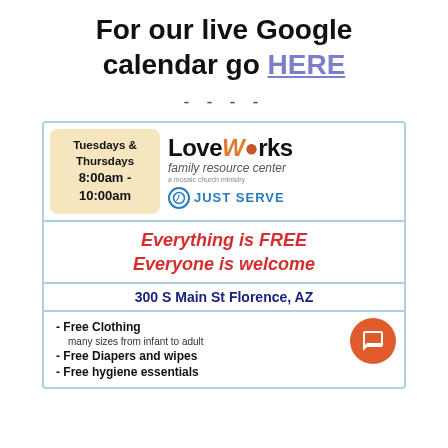For our live Google calendar go HERE
- - - -
[Figure (infographic): LoveWorks Family Resource Center advertisement. Shows schedule: Tuesdays & Thursdays 8:00am - 10:00am. Everything is FREE, Everyone is welcome. Address: 300 S Main St Florence, AZ. Services: Free Clothing (many sizes from infant to adult), Free Diapers and wipes, Free hygiene essentials. JustServe logo visible.]